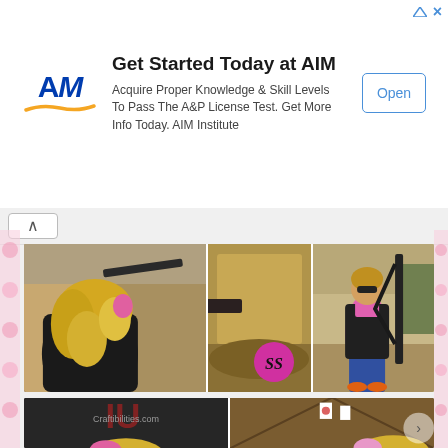[Figure (infographic): Advertisement banner for AIM Institute. Logo on left (AIM with orange wave underline), headline 'Get Started Today at AIM', body text 'Acquire Proper Knowledge & Skill Levels To Pass The A&P License Test. Get More Info Today. AIM Institute', 'Open' button on right. Ad indicator icon at top right.]
[Figure (photo): Top photo collage: three images side by side. Left: woman with blonde hair from behind, shooting a rifle at outdoor range. Center: close-up of gun/target area with pink SS logo badge overlay. Right: woman in pink top and jeans holding rifle vertically, standing at outdoor range.]
[Figure (photo): Bottom photo collage (partially visible): Left: smiling blonde woman with glasses wearing pink ear protection and black t-shirt with 'chicks demo' text, with 'Craftibilities.com' watermark. Right: indoor shooting range viewed from shooter's perspective, targets visible downrange, blonde woman at bottom right.]